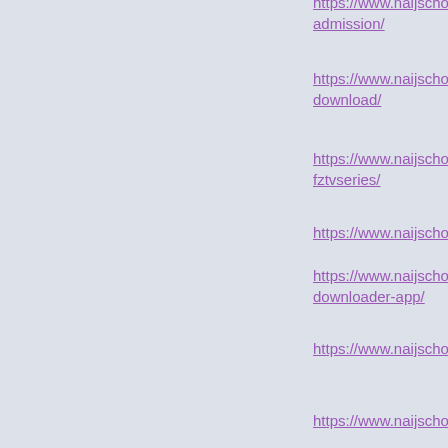https://www.naijschools.com/nigerian-navy-university-admission/
https://www.naijschools.com/melomovie-free-download/
https://www.naijschools.com/mobiletvshows-fztvseries/
https://www.naijschools.com/tfpdl-website/
https://www.naijschools.com/mp3juice-free-downloader-app/
https://www.naijschools.com/how-to-use-the-jamb-caps-admission-statu...
https://www.naijschools.com/what-triple-captain-means-on-fpl/
D
https://www.naijschools.com/
https://www.naijschools.com/how-to-tell-if-someone-is-on-facebook-da...
https://www.naijschools.com/pagalworld/